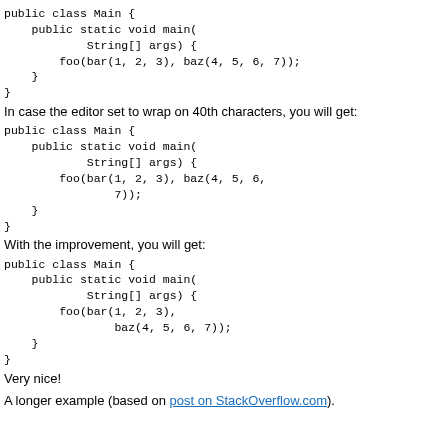public class Main {
    public static void main(
            String[] args) {
        foo(bar(1, 2, 3), baz(4, 5, 6, 7));
    }
}
In case the editor set to wrap on 40th characters, you will get:
public class Main {
    public static void main(
            String[] args) {
        foo(bar(1, 2, 3), baz(4, 5, 6,
                7));
    }
}
With the improvement, you will get:
public class Main {
    public static void main(
            String[] args) {
        foo(bar(1, 2, 3),
                baz(4, 5, 6, 7));
    }
}
Very nice!
A longer example (based on post on StackOverflow.com).